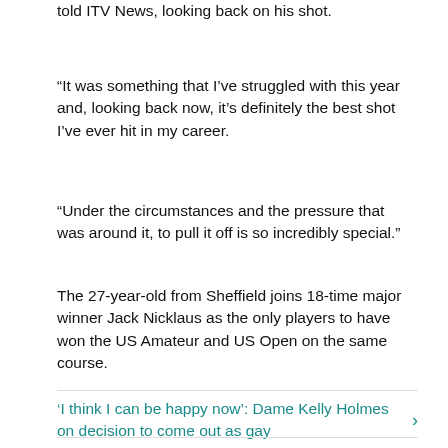told ITV News, looking back on his shot.
“It was something that I’ve struggled with this year and, looking back now, it’s definitely the best shot I’ve ever hit in my career.
“Under the circumstances and the pressure that was around it, to pull it off is so incredibly special.”
The 27-year-old from Sheffield joins 18-time major winner Jack Nicklaus as the only players to have won the US Amateur and US Open on the same course.
‘I think I can be happy now’: Dame Kelly Holmes on decision to come out as gay
Mixed emotions for Rory after US Open disappointment